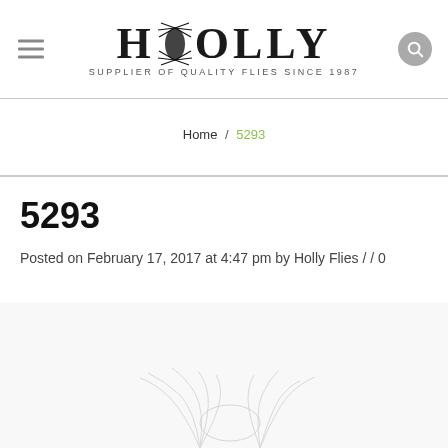HOLLY — Supplier of Quality Flies Since 1987
Home / 5293
5293
Posted on February 17, 2017 at 4:47 pm by Holly Flies / / 0
[Figure (illustration): Partial view of what appears to be a fly fishing lure illustration at the bottom of the page]